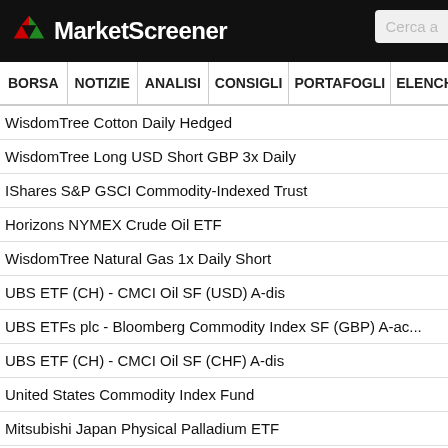MarketScreener
BORSA NOTIZIE ANALISI CONSIGLI PORTAFOGLI ELENCHI MIGLIO
WisdomTree Cotton Daily Hedged
WisdomTree Long USD Short GBP 3x Daily
IShares S&P GSCI Commodity-Indexed Trust
Horizons NYMEX Crude Oil ETF
WisdomTree Natural Gas 1x Daily Short
UBS ETF (CH) - CMCI Oil SF (USD) A-dis
UBS ETFs plc - Bloomberg Commodity Index SF (GBP) A-ac...
UBS ETF (CH) - CMCI Oil SF (CHF) A-dis
United States Commodity Index Fund
Mitsubishi Japan Physical Palladium ETF
Teucrium CORN Fund
IShares GSCI Commodity Dynamic Roll Strategy ETF - Dist...
Invesco DB Oil Fund
OSSIAM RISK WEIGHTED ENHANCED COMMODITY EX. GRAINS TR ...
Invesco DB Commodity Index Tracking Fund
WisdomTree Broad Commodities Acc